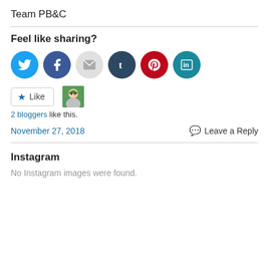Team PB&C
Feel like sharing?
[Figure (infographic): Row of social media share buttons: Twitter (cyan), Facebook (blue), Email (light gray), Tumblr (dark navy), Pinterest (red), LinkedIn (teal)]
[Figure (infographic): Like button with star icon and a blogger avatar thumbnail. Text below: 2 bloggers like this.]
2 bloggers like this.
November 27, 2018
Leave a Reply
Instagram
No Instagram images were found.